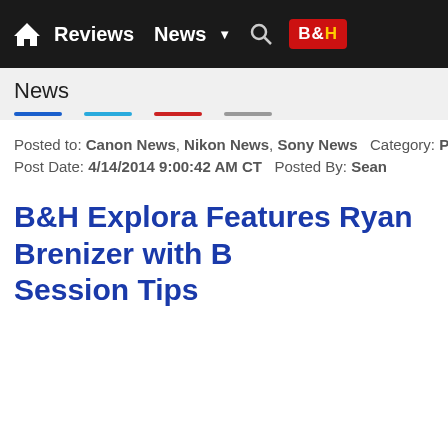Home  Reviews  News  ▼  🔍  B&H
News
Posted to: Canon News, Nikon News, Sony News  Category: Profoto
Post Date: 4/14/2014 9:00:42 AM CT  Posted By: Sean
B&H Explora Features Ryan Brenizer with B… Session Tips